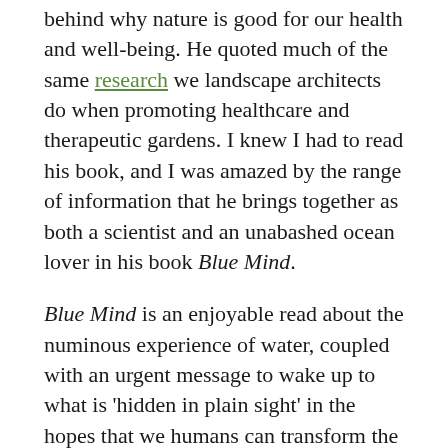behind why nature is good for our health and well-being. He quoted much of the same research we landscape architects do when promoting healthcare and therapeutic gardens. I knew I had to read his book, and I was amazed by the range of information that he brings together as both a scientist and an unabashed ocean lover in his book Blue Mind.
Blue Mind is an enjoyable read about the numinous experience of water, coupled with an urgent message to wake up to what is 'hidden in plain sight' in the hopes that we humans can transform the way we treat our planet's resources. Nichols shares a strong emotional connection to this liquid element, as do many people who are willing to pay a lot of money to travel to beautiful beaches for vacations and spend top dollar for the house with a view of the water. For those of us who are curious to know what's up with that from a scientific evidence point of view, this book explains the